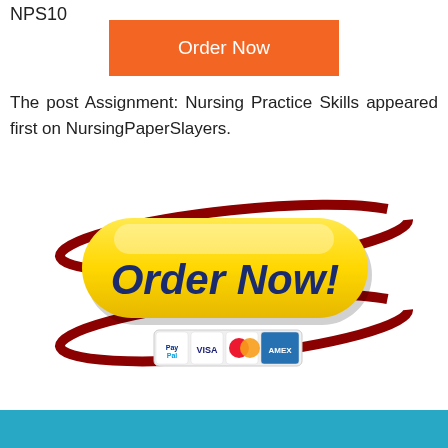NPS10
[Figure (illustration): Orange 'Order Now' button]
The post Assignment: Nursing Practice Skills appeared first on NursingPaperSlayers.
[Figure (illustration): Yellow 'Order Now!' button with dark red swoosh and payment icons: PayPal, VISA, MasterCard, AMEX]